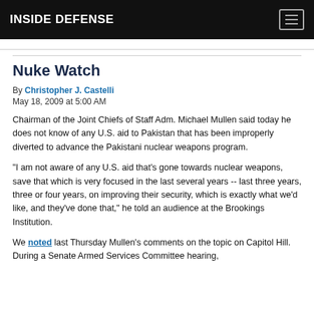INSIDE DEFENSE
Nuke Watch
By Christopher J. Castelli
May 18, 2009 at 5:00 AM
Chairman of the Joint Chiefs of Staff Adm. Michael Mullen said today he does not know of any U.S. aid to Pakistan that has been improperly diverted to advance the Pakistani nuclear weapons program.
"I am not aware of any U.S. aid that's gone towards nuclear weapons, save that which is very focused in the last several years -- last three years, three or four years, on improving their security, which is exactly what we'd like, and they've done that," he told an audience at the Brookings Institution.
We noted last Thursday Mullen's comments on the topic on Capitol Hill. During a Senate Armed Services Committee hearing,